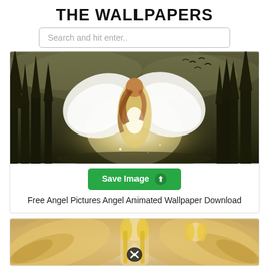THE WALLPAPERS
Search and hit enter..
[Figure (illustration): Fantasy angel woman with white wings wearing a golden dress, standing in a dark forest with glowing light, birds flying in background]
Save Image ⬆
Free Angel Pictures Angel Animated Wallpaper Download
[Figure (illustration): Blonde angel woman with large feathered wings, soft golden tones, close-up view with a circular X/close button overlay]